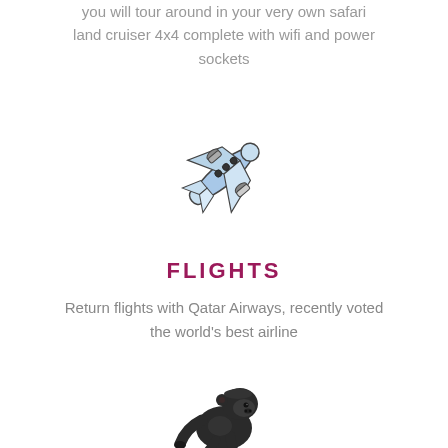you will tour around in your very own safari land cruiser 4x4 complete with wifi and power sockets
[Figure (illustration): Airplane illustration in blue and white, shown at a diagonal angle flying left upward]
FLIGHTS
Return flights with Qatar Airways, recently voted the world's best airline
[Figure (illustration): Gorilla illustration walking to the right, dark/black coloring]